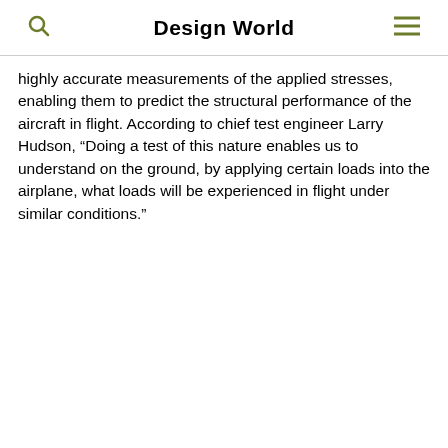Design World
highly accurate measurements of the applied stresses, enabling them to predict the structural performance of the aircraft in flight. According to chief test engineer Larry Hudson, “Doing a test of this nature enables us to understand on the ground, by applying certain loads into the airplane, what loads will be experienced in flight under similar conditions.”